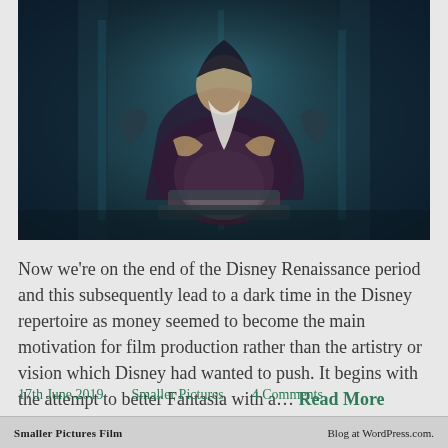[Figure (photo): Screenshot from an animated Disney film showing a dark-toned scene with a robed character (wizard/sorcerer figure) seated, with teal and dark blue background colors, partially visible at top of page.]
Now we're on the end of the Disney Renaissance period and this subsequently lead to a dark time in the Disney repertoire as money seemed to become the main motivation for film production rather than the artistry or vision which Disney had wanted to push. It begins with the attempt to better Fantasia with a… Read More
17th June 2019    Smaller Pictures    4 Comments
Smaller Pictures Film    Blog at WordPress.com.